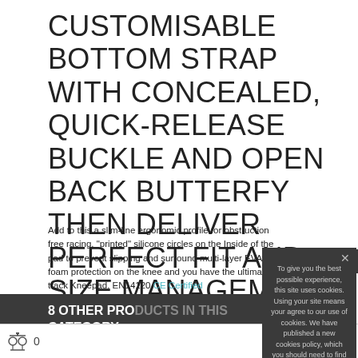CUSTOMISABLE BOTTOM STRAP WITH CONCEALED, QUICK-RELEASE BUCKLE AND OPEN BACK BUTTERFY THEN DELIVER PERFECT FIT AND SIZE MANAGEMENT.
Add to this a slim-line ergonomic profile for obstruction free racing, 'printed' silicone circles on the Inside of the pad to prevent slipping and surround multi-layer EVA foam protection on the knee and you have the ultimate track Kneepad. EN14120 CE Certified
8 OTHER PRODUCTS IN THIS CATEGORY:
To give you the best possible experience, this site uses cookies. Using your site means your agree to our use of cookies. We have published a new cookies policy, which you should need to find out more about the cookies we use. View cookies policy.